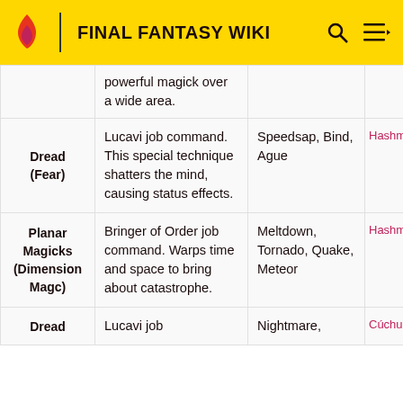FINAL FANTASY WIKI
| Name | Description | Abilities | Users |
| --- | --- | --- | --- |
|  | powerful magick over a wide area. |  |  |
| Dread (Fear) | Lucavi job command. This special technique shatters the mind, causing status effects. | Speedsap, Bind, Ague | Hashm... |
| Planar Magicks (Dimension Magc) | Bringer of Order job command. Warps time and space to bring about catastrophe. | Meltdown, Tornado, Quake, Meteor | Hashm... |
| Dread | Lucavi job... | Nightmare, | Cúchu... |